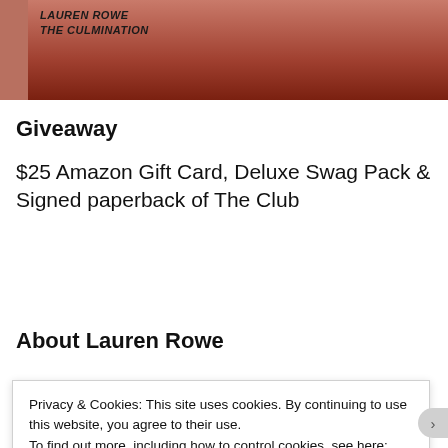[Figure (photo): Book cover photo showing bottom portion of 'The Culmination' by Lauren Rowe with reddish-brown tones]
Giveaway
$25 Amazon Gift Card, Deluxe Swag Pack & Signed paperback of The Club
a Rafflecopter giveaway
About Lauren Rowe
[Figure (photo): Partial view of Lauren Rowe author photo with red background banner]
Privacy & Cookies: This site uses cookies. By continuing to use this website, you agree to their use.
To find out more, including how to control cookies, see here: Cookie Policy
Close and accept